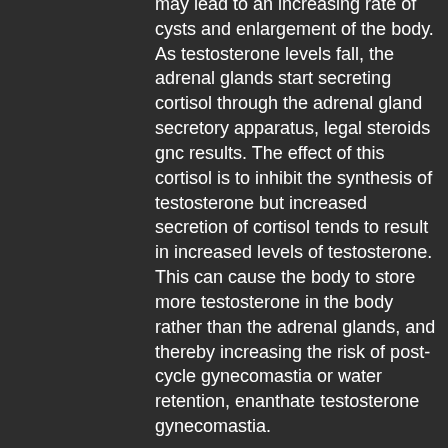may lead to an increasing rate of cysts and enlargement of the body. As testosterone levels fall, the adrenal glands start secreting cortisol through the adrenal gland secretory apparatus, legal steroids gnc results. The effect of this cortisol is to inhibit the synthesis of testosterone but increased secretion of cortisol tends to result in increased levels of testosterone. This can cause the body to store more testosterone in the body rather than the adrenal glands, and thereby increasing the risk of post-cycle gynecomastia or water retention, enanthate testosterone gynecomastia.
Testosterone is known to be a diuretic in many forms in males and is thought to be associated with diuresis. This results in a state of decreased body temperature, hypothermia, and dehydration. A condition known as hyponatremia can result, particularly in the elderly, legal steroids for